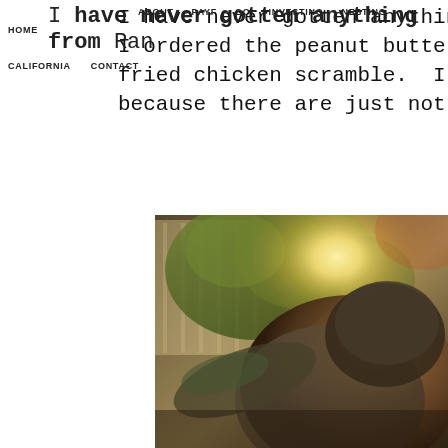HOME  ABOUT  PAYF  GO  INVESTING  NESTING
CALIFORNIA  CONTACT
I have never gotten anything from Ran I ordered the peanut butter and ban fried chicken scramble.  I won't e because there are just not adjectives
[Figure (photo): Outdoor photo of a person leaning forward, wearing a knitted beanie and sweater, with a sun-washed garden background featuring a wooden fence and green leafy plants bathed in bright warm sunlight.]